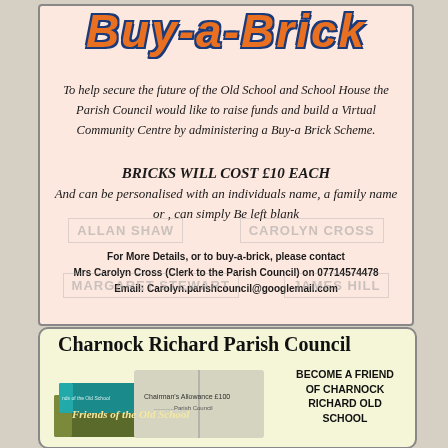Buy-a-Brick
To help secure the future of the Old School and School House the Parish Council would like to raise funds and build a Virtual Community Centre by administering a Buy-a Brick Scheme.
BRICKS WILL COST £10 EACH
And can be personalised with an individuals name, a family name or , can simply Be left blank
For More Details, or to buy-a-brick, please contact Mrs Carolyn Cross (Clerk to the Parish Council) on 07714574478 Email: Carolyn.parishcouncil@googlemail.com
Charnock Richard Parish Council
[Figure (illustration): Books stacked with 'Friends of the Old School' text on the spine, and an open book with 'Chairman's Allowance £100' text visible]
BECOME A FRIEND OF CHARNOCK RICHARD OLD SCHOOL